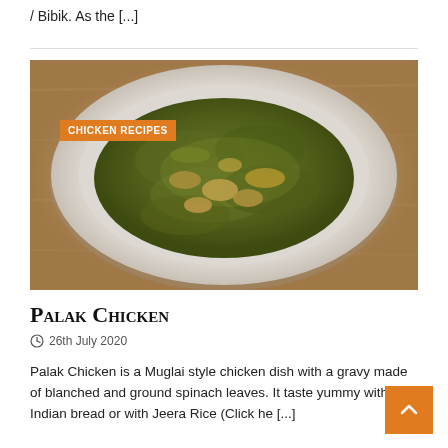/ Bibik. As the [...]
[Figure (photo): A white plate with Palak Chicken - a dark green spinach-based curry with pieces of chicken, served on a plate against a wooden background. An orange 'CHICKEN RECIPES' label is overlaid in the top-left corner of the image.]
Palak Chicken
26th July 2020
Palak Chicken is a Muglai style chicken dish with a gravy made of blanched and ground spinach leaves. It taste yummy with Indian bread or with Jeera Rice (Click he [...]